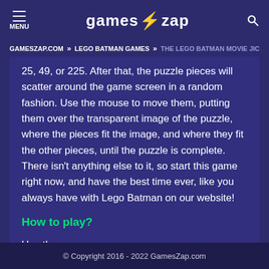MENU | games⚡zap
GAMESZAP.COM » LEGO BATMAN GAMES » THE LEGO BATMAN MOVIE JI...
25, 49, or 225. After that, the puzzle pieces will scatter around the game screen in a random fashion. Use the mouse to move them, putting them over the transparent image of the puzzle, where the pieces fit the image, and where they fit the other pieces, until the puzzle is complete. There isn't anything else to it, so start this game right now, and have the best time ever, like you always have with Lego Batman on our website!
How to play?
Use the mouse.
© Copyright 2016 - 2022 GamesZap.com